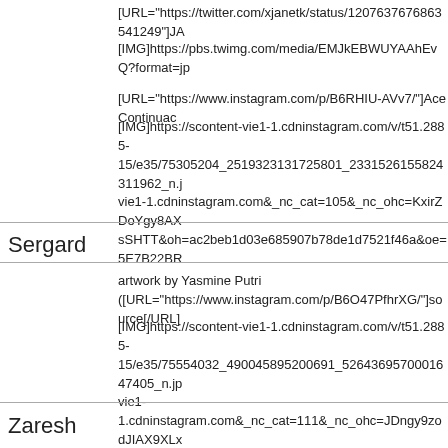[URL="https://twitter.com/xjanetk/status/1207637676863541249"]JA
[IMG]https://pbs.twimg.com/media/EMJkEBWUYAAhEvQ?format=jp
[URL="https://www.instagram.com/p/B6RHIU-AVv7/"]Ace Continuac
[IMG]https://scontent-vie1-1.cdninstagram.com/v/t51.2885-15/e35/75305204_2519323131725801_2331526155824311962_n.j vie1-1.cdninstagram.com&_nc_cat=105&_nc_ohc=KxirZDoYgy8AX sSHTT&oh=ac2beb1d03e685907b78de1d7521f46a&oe=5E7B22BR
Sergard
artwork by Yasmine Putri ([URL="https://www.instagram.com/p/B6O47PfhrXG/"]source[/URL]
[IMG]https://scontent-vie1-1.cdninstagram.com/v/t51.2885-15/e35/75554032_490045895200691_5264369570001647405_n.jp vie1-1.cdninstagram.com&_nc_cat=111&_nc_ohc=JDngy9zodJIAX9XLx
Zaresh